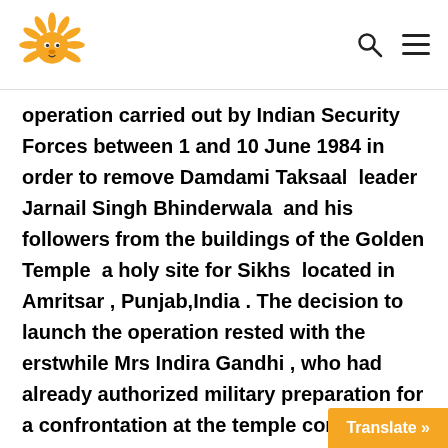[Logo] [Search icon] [Menu icon]
operation carried out by Indian Security Forces between 1 and 10 June 1984 in order to remove Damdami Taksaal  leader Jarnail Singh Bhinderwala  and his followers from the buildings of the Golden Temple  a holy site for Sikhs  located in Amritsar , Punjab,India . The decision to launch the operation rested with the erstwhile Mrs Indira Gandhi , who had already authorized military preparation for a confrontation at the temple complex 18 months prior,  according to the then-Vice Chief of the Army Staff, S.K.Sinha. On 1 June 1984, after negotiations with the militants failed, Indira Gandhi ordered the army to launch Operation Blue Star, simultaneously attacking scores of Sikh temples acro
Translate »